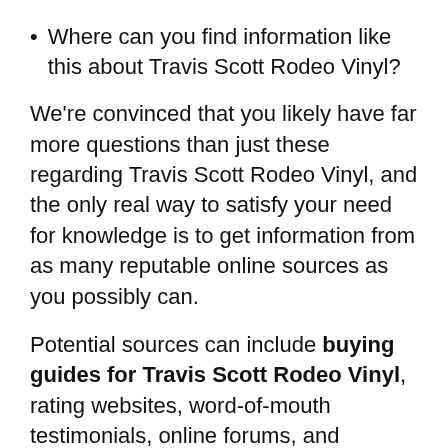Where can you find information like this about Travis Scott Rodeo Vinyl?
We're convinced that you likely have far more questions than just these regarding Travis Scott Rodeo Vinyl, and the only real way to satisfy your need for knowledge is to get information from as many reputable online sources as you possibly can.
Potential sources can include buying guides for Travis Scott Rodeo Vinyl, rating websites, word-of-mouth testimonials, online forums, and product reviews. Thorough and mindful research is crucial to making sure you get your hands on the best possible Travis Scott Rodeo